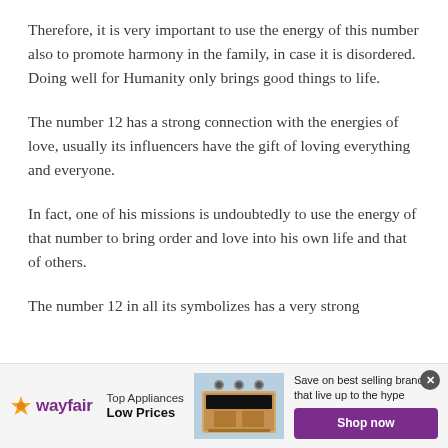Therefore, it is very important to use the energy of this number also to promote harmony in the family, in case it is disordered. Doing well for Humanity only brings good things to life.
The number 12 has a strong connection with the energies of love, usually its influencers have the gift of loving everything and everyone.
In fact, one of his missions is undoubtedly to use the energy of that number to bring order and love into his own life and that of others.
The number 12 in all its symbolizes has a very strong
[Figure (other): Wayfair advertisement banner: Top Appliances Low Prices with image of kitchen range/stove and Shop now button]